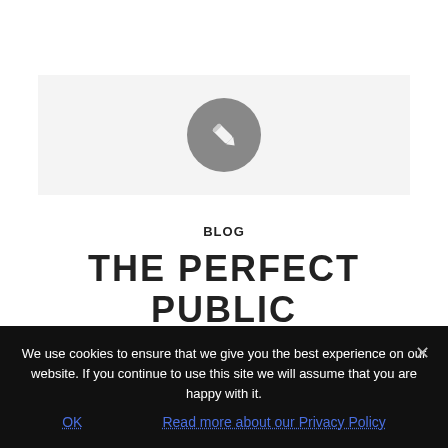[Figure (illustration): Light grey banner with a dark grey circle containing a white pencil/edit icon in the center]
BLOG
THE PERFECT PUBLIC RELATIONS STORY
Often our clients ask if we can help with medical
We use cookies to ensure that we give you the best experience on our website. If you continue to use this site we will assume that you are happy with it.
OK
Read more about our Privacy Policy